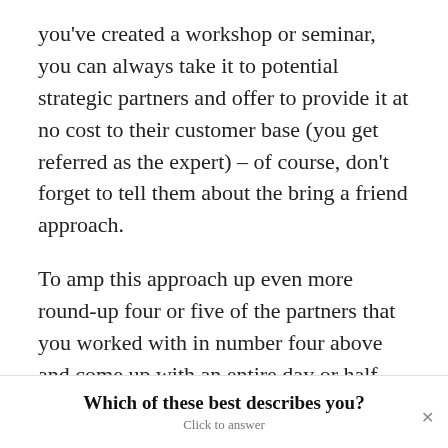you've created a workshop or seminar, you can always take it to potential strategic partners and offer to provide it at no cost to their customer base (you get referred as the expert) – of course, don't forget to tell them about the bring a friend approach.
To amp this approach up even more round-up four or five of the partners that you worked with in number four above and come up with an entire day or half day of great topics that your target market will find irresistible. Then each
Which of these best describes you?
Click to answer